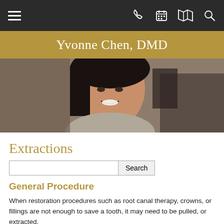Yvonne Chen, DMD — navigation bar
Yvonne Chen, DMD
[Figure (photo): Portrait photo of a smiling woman with dark hair, wearing a patterned shirt, dental practice hero image]
Extractions
Search
General Procedure
When restoration procedures such as root canal therapy, crowns, or fillings are not enough to save a tooth, it may need to be pulled, or extracted.
Tooth extraction procedures today are far less painful than ever